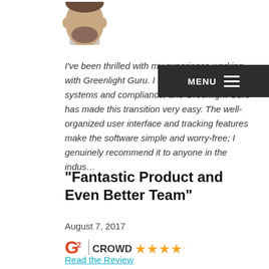[Figure (photo): Partial headshot of a man from the chin down, shown at the top of the page]
I've been thrilled with my experience working with Greenlight Guru. I am new to quality systems and compliance, and Greenlight Guru has made this transition very easy. The well-organized user interface and tracking features make the software simple and worry-free; I genuinely recommend it to anyone in the indus...
“Fantastic Product and Even Better Team”
August 7, 2017
[Figure (logo): G2 Crowd logo with 5 orange stars]
Read the Review